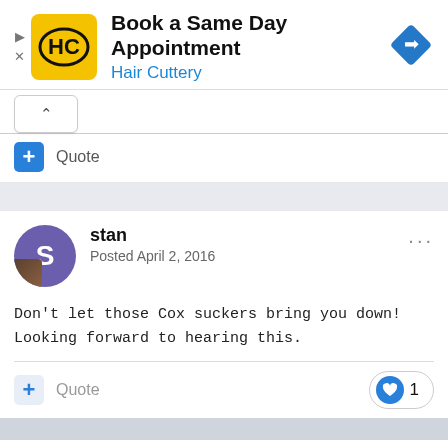[Figure (screenshot): Advertisement banner for Hair Cuttery with yellow logo, bold title 'Book a Same Day Appointment', blue subtitle 'Hair Cuttery', and blue diamond navigation icon on the right. Play and X controls on the left.]
Quote
Quote
stan
Posted April 2, 2016
Don't let those Cox suckers bring you down!  Looking forward to hearing this.
Quote
1
djrage